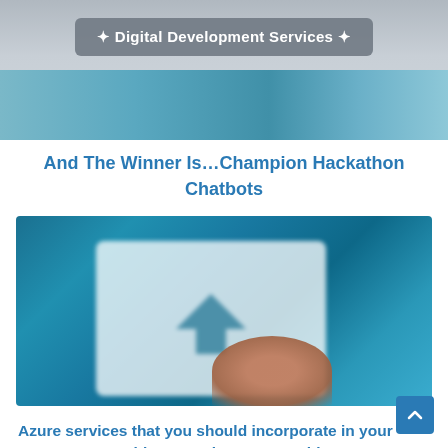✦ Digital Development Services ✦
And The Winner Is…Champion Hackathon Chatbots
[Figure (photo): Blurred photo showing a hand pointing at or holding up a white card/sign with a blue arrow symbol, set against a teal/blue background.]
Azure services that you should incorporate in your company – Machine Learning, AI, Cognitive